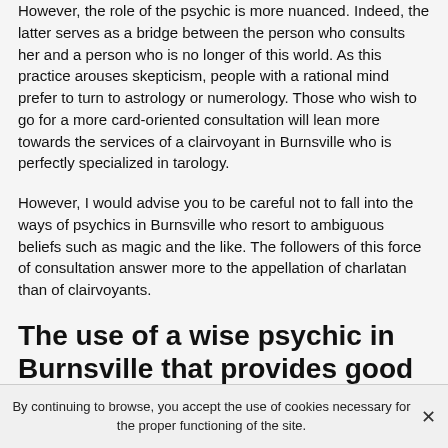However, the role of the psychic is more nuanced. Indeed, the latter serves as a bridge between the person who consults her and a person who is no longer of this world. As this practice arouses skepticism, people with a rational mind prefer to turn to astrology or numerology. Those who wish to go for a more card-oriented consultation will lean more towards the services of a clairvoyant in Burnsville who is perfectly specialized in tarology.
However, I would advise you to be careful not to fall into the ways of psychics in Burnsville who resort to ambiguous beliefs such as magic and the like. The followers of this force of consultation answer more to the appellation of charlatan than of clairvoyants.
The use of a wise psychic in Burnsville that provides good predictions
By continuing to browse, you accept the use of cookies necessary for the proper functioning of the site.